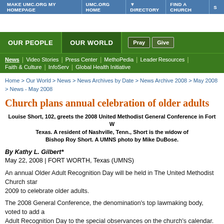MAKE UMC.ORG MY HOMEPAGE | UMC.ORG HOME | ▼ DIRECTORY | FIND A CHURCH | S
[Figure (screenshot): Advertisement banner area, white space]
OUR PEOPLE | OUR WORLD | Pray | Give
News | Video Stories | Press Center | MethoPedia | Leader Resources | Faith & Culture | InfoServ | Global Health Initiative
Home > Our World > News > News Archives by Date > News Archive 2008 > May 2008 > News - May 2008
Church plans annual celebration of older adults
Louise Short, 102, greets the 2008 United Methodist General Conference in Fort Worth, Texas. A resident of Nashville, Tenn., Short is the widow of Bishop Roy Short. A UMNS photo by Mike DuBose.
By Kathy L. Gilbert*
May 22, 2008 | FORT WORTH, Texas (UMNS)
An annual Older Adult Recognition Day will be held in The United Methodist Church starting in 2009 to celebrate older adults.
The 2008 General Conference, the denomination's top lawmaking body, voted to add an Older Adult Recognition Day to the special observances on the church's calendar. The day is...